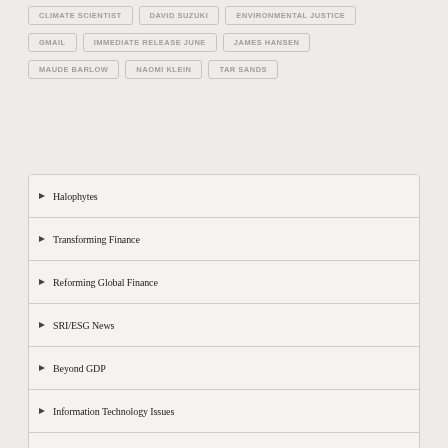CLIMATE SCIENTIST
DAVID SUZUKI
ENVIRONMENTAL JUSTICE
GMAIL
IMMEDIATE RELEASE JUNE
JAMES HANSEN
MAUDE BARLOW
NAOMI KLEIN
TAR SANDS
Halophytes
Transforming Finance
Reforming Global Finance
SRI/ESG News
Beyond GDP
Information Technology Issues
Community Development Solutions
Resource Efficiency